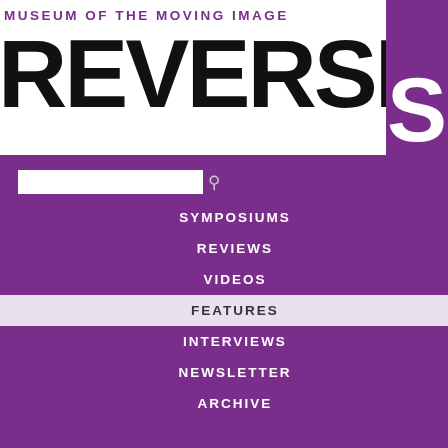MUSEUM OF THE MOVING IMAGE
REVERSE S
SYMPOSIUMS
REVIEWS
VIDEOS
FEATURES
INTERVIEWS
NEWSLETTER
ARCHIVE
Raging Bull
By Michael Koresky | December 8, 2...
[Figure (photo): Black and white boxing photo showing a boxer near the ring ropes, from the film Raging Bull]